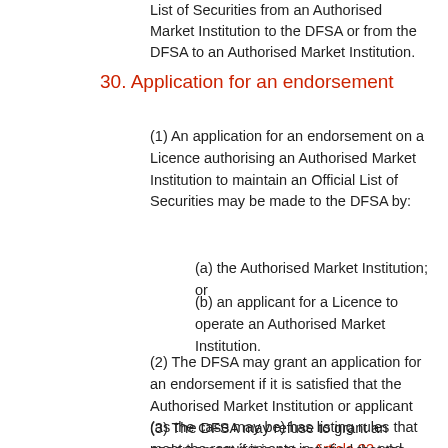List of Securities from an Authorised Market Institution to the DFSA or from the DFSA to an Authorised Market Institution.
30. Application for an endorsement
(1) An application for an endorsement on a Licence authorising an Authorised Market Institution to maintain an Official List of Securities may be made to the DFSA by:
(a) the Authorised Market Institution; or
(b) an applicant for a Licence to operate an Authorised Market Institution.
(2) The DFSA may grant an application for an endorsement if it is satisfied that the Authorised Market Institution or applicant (as the case may be) has listing rules that meet the requirements in Article 32 and complies with any other relevant requirements that are imposed by this Law or the Rules.
(3) The DFSA may refuse to grant an endorsement if it is not satisfied that the requirements referred to in Article 30(2) are met.